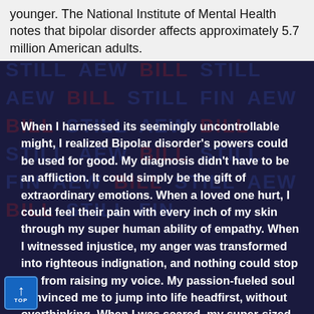younger. The National Institute of Mental Health notes that bipolar disorder affects approximately 5.7 million American adults.
When I harnessed its seemingly uncontrollable might, I realized Bipolar disorder's powers could be used for good. My diagnosis didn't have to be an affliction. It could simply be the gift of extraordinary emotions. When a loved one hurt, I could feel their pain with every inch of my skin through my super human ability of empathy. When I witnessed injustice, my anger was transformed into righteous indignation, and nothing could stop me from raising my voice. My passion-fueled soul convinced me to jump into life headfirst, without overthinking. When I was scared, my super-sized heart reminded me I could be invincible. When I doubted myself, my overachieving mind made me believe I was capable of flying. And when I desired something, there was not a person on earth who could hold me back. I